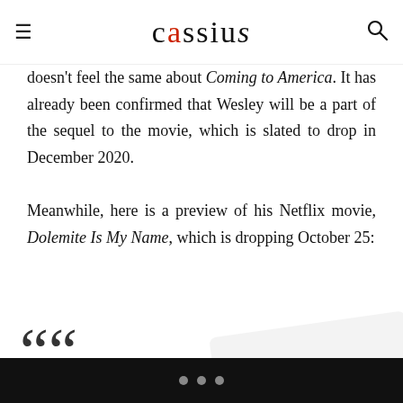cassius
doesn't feel the same about Coming to America. It has already been confirmed that Wesley will be a part of the sequel to the movie, which is slated to drop in December 2020.

Meanwhile, here is a preview of his Netflix movie, Dolemite Is My Name, which is dropping October 25:
DOLEMITE IS MY NAME